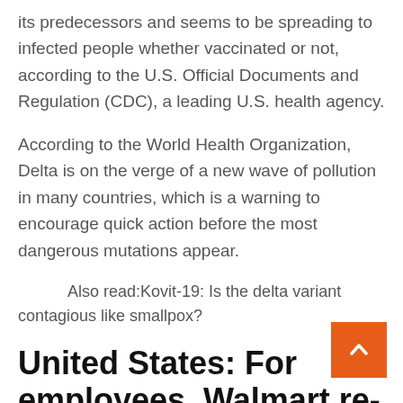its predecessors and seems to be spreading to infected people whether vaccinated or not, according to the U.S. Official Documents and Regulation (CDC), a leading U.S. health agency.
According to the World Health Organization, Delta is on the verge of a new wave of pollution in many countries, which is a warning to encourage quick action before the most dangerous mutations appear.
Also read:Kovit-19: Is the delta variant contagious like smallpox?
United States: For employees, Walmart re-imposes mask and Disney demands vaccine